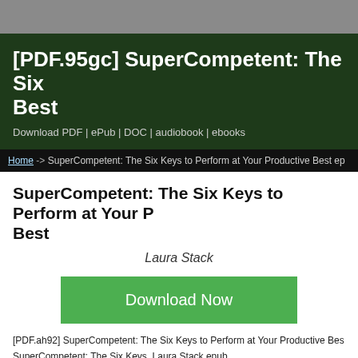[PDF.95gc] SuperCompetent: The Six Keys to Perform at Your Productive Best
Download PDF | ePub | DOC | audiobook | ebooks
Home -> SuperCompetent: The Six Keys to Perform at Your Productive Best ep
SuperCompetent: The Six Keys to Perform at Your Productive Best
Laura Stack
[Figure (other): Green Download Now button]
[PDF.ah92] SuperCompetent: The Six Keys to Perform at Your Productive Best
SuperCompetent: The Six Keys  Laura Stack epub
SuperCompetent: The Six Keys  Laura Stack pdf download